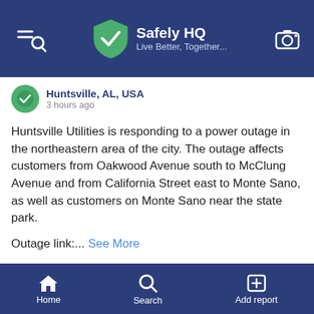Safely HQ — Live Better, Together...
Huntsville, AL, USA
3 hours ago
Huntsville Utilities is responding to a power outage in the northeastern area of the city. The outage affects customers from Oakwood Avenue south to McClung Avenue and from California Street east to Monte Sano, as well as customers on Monte Sano near the state park.
Outage link:... See More
#poweroutage
Home  Search  Add report